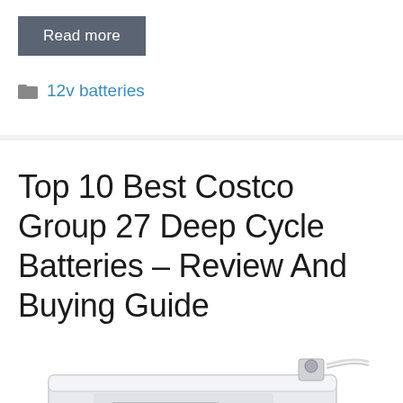Read more
12v batteries
Top 10 Best Costco Group 27 Deep Cycle Batteries – Review And Buying Guide
[Figure (photo): Partial view of a white deep cycle battery with terminals visible at the bottom of the page]